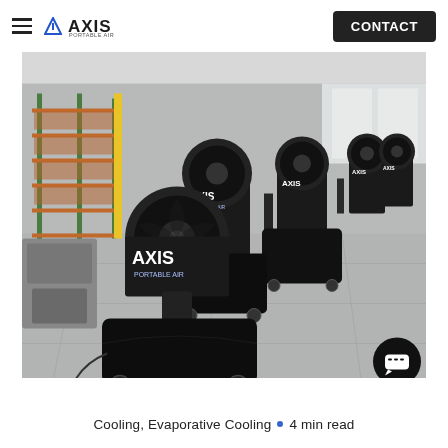AXIS PORTABLE AIR — navigation header with hamburger menu and CONTACT button
[Figure (photo): Multiple Axis Portable Air evaporative cooling fan units on wheeled carts lined up inside a large industrial warehouse with metal shelving racks in the background. The machines are black with blue AXIS PORTABLE AIR branding on the cylindrical fan housings.]
Cooling, Evaporative Cooling • 4 min read